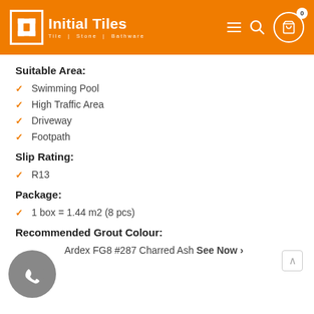Initial Tiles — Tile | Stone | Bathware
Suitable Area:
Swimming Pool
High Traffic Area
Driveway
Footpath
Slip Rating:
R13
Package:
1 box = 1.44 m2 (8 pcs)
Recommended Grout Colour:
Ardex FG8 #287 Charred Ash See Now ›